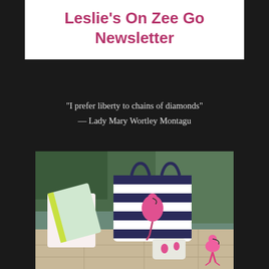Leslie's On Zee Go Newsletter
"I prefer liberty to chains of diamonds"
— Lady Mary Wortley Montagu
[Figure (photo): Photo of flamingo-themed accessories including a striped tote bag with flamingo, flamingo-print pouches and notebooks, a phone case, and a pink plastic flamingo figurine, arranged on an outdoor tiled surface with greenery in background.]